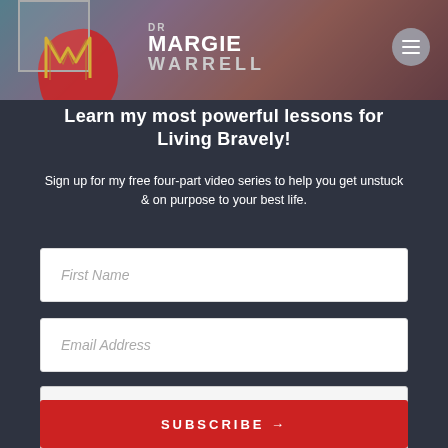[Figure (screenshot): Dr Margie Warrell website screenshot showing a signup form with colorful banner, logo, title text, First Name and Email Address input fields, reCAPTCHA widget, and a red SUBSCRIBE button.]
Learn my most powerful lessons for Living Bravely!
Sign up for my free four-part video series to help you get unstuck & on purpose to your best life.
First Name
Email Address
I'm not a robot
SUBSCRIBE →